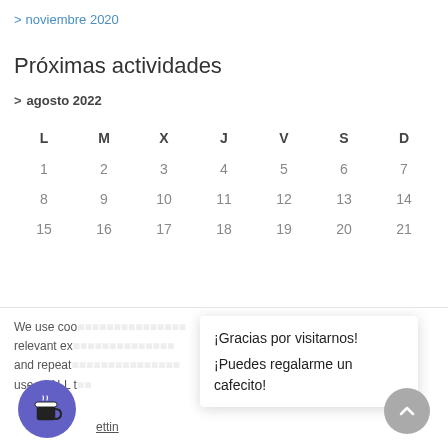> noviembre 2020
Próximas actividades
> agosto 2022
| L | M | X | J | V | S | D |
| --- | --- | --- | --- | --- | --- | --- |
| 1 | 2 | 3 | 4 | 5 | 6 | 7 |
| 8 | 9 | 10 | 11 | 12 | 13 | 14 |
| 15 | 16 | 17 | 18 | 19 | 20 | 21 |
We use coo… ost relevant exp… ences and repeat… t to the use of ALL t…
¡Gracias por visitarnos! ¡Puedes regalarme un cafecito!